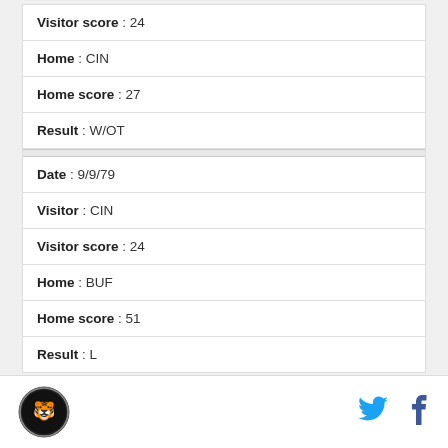| Visitor score : 24 |
| Home : CIN |
| Home score : 27 |
| Result : W/OT |
| Date : 9/9/79 |
| Visitor : CIN |
| Visitor score : 24 |
| Home : BUF |
| Home score : 51 |
| Result : L |
Logo | Twitter | Facebook